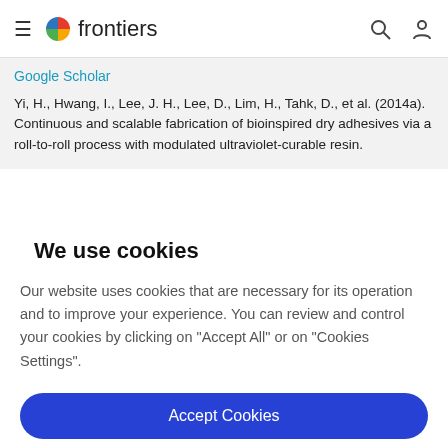frontiers
Google Scholar
Yi, H., Hwang, I., Lee, J. H., Lee, D., Lim, H., Tahk, D., et al. (2014a). Continuous and scalable fabrication of bioinspired dry adhesives via a roll-to-roll process with modulated ultraviolet-curable resin.
We use cookies
Our website uses cookies that are necessary for its operation and to improve your experience. You can review and control your cookies by clicking on "Accept All" or on "Cookies Settings".
Accept Cookies
Cookies Settings